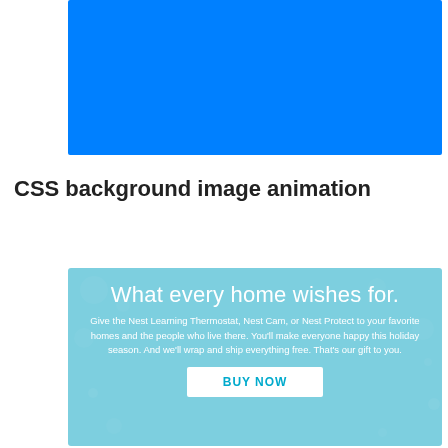[Figure (illustration): Solid bright blue rectangle banner at the top of the page]
CSS background image animation
[Figure (infographic): Light blue advertisement card with decorative bokeh circles. Contains headline 'What every home wishes for.', body text about Nest products, and a white 'BUY NOW' button.]